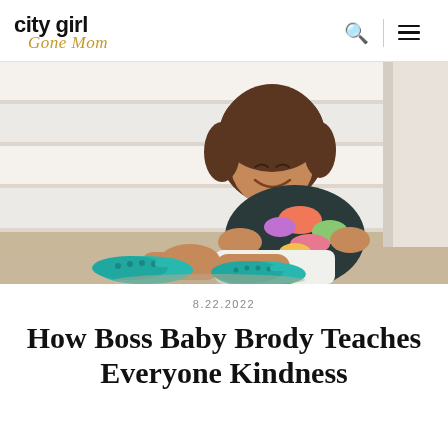city girl Gone Mom
[Figure (photo): A smiling young girl with curly brown hair sitting on stairs, wearing a colorful tropical print shirt, white shorts, and teal Crocs sandals, leaning against a white wall.]
8.22.2022
How Boss Baby Brody Teaches Everyone Kindness